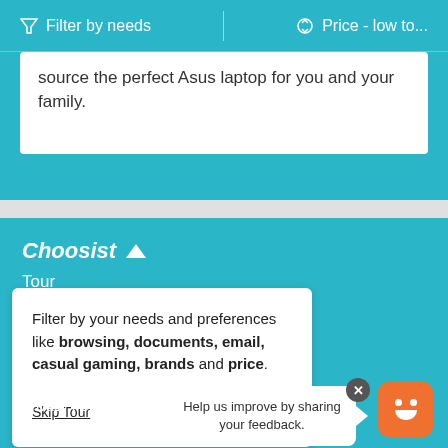Filter by needs | Price - low to...
source the perfect Asus laptop for you and your family.
Choosist
Tour
Filter by your needs and preferences like browsing, documents, email, casual gaming, brands and price.
Skip Tour
Next
Terms
Privacy Policy
Help us improve by sharing your feedback.
Regions